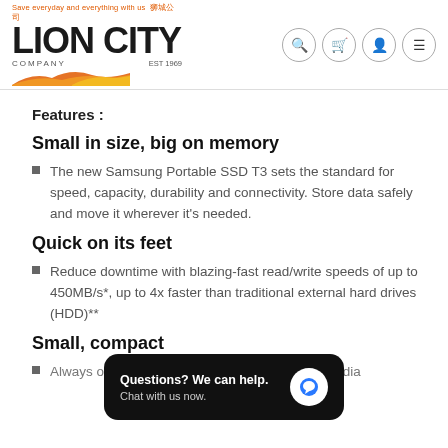[Figure (logo): Lion City Company logo with orange/red flame graphic, EST 1969, and Chinese characters]
Features :
Small in size, big on memory
The new Samsung Portable SSD T3 sets the standard for speed, capacity, durability and connectivity. Store data safely and move it wherever it's needed.
Quick on its feet
Reduce downtime with blazing-fast read/write speeds of up to 450MB/s*, up to 4x faster than traditional external hard drives (HDD)**
Small, compact
Always on the move from one job to the next, media
[Figure (screenshot): Chat popup overlay: Questions? We can help. Chat with us now. with blue chat bubble icon]